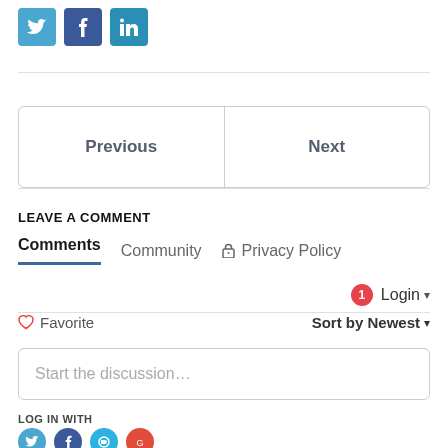[Figure (other): Social media share buttons: Twitter (blue), Facebook (dark blue), LinkedIn (teal blue)]
| Previous | Next |
| --- | --- |
LEAVE A COMMENT
Comments   Community   🔒 Privacy Policy
Login ▾
♡ Favorite   Sort by Newest ▾
Start the discussion...
LOG IN WITH